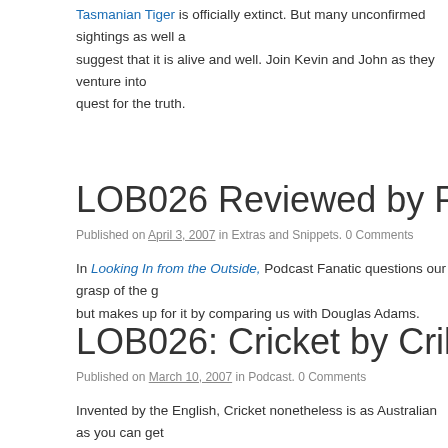Tasmanian Tiger is officially extinct. But many unconfirmed sightings as well as suggest that it is alive and well. Join Kevin and John as they venture into quest for the truth.
LOB026 Reviewed by Podcast Fanatic
Published on April 3, 2007 in Extras and Snippets. 0 Comments
In Looking In from the Outside, Podcast Fanatic questions our grasp of the g but makes up for it by comparing us with Douglas Adams.
LOB026: Cricket by Crikey
Published on March 10, 2007 in Podcast. 0 Comments
Invented by the English, Cricket nonetheless is as Australian as you can get don't understand this ancient game, you don't understand Australia. In this ep John try their best to explain why Australians love Cricket so much. (Hint, it has beating the English).
LOB025: Avoid Mis-Steaks (Talkin' Stri
Published on February 21, 2007 in Podcast. 0 Comments
Let it never be said that we forget the essentials here on Lost Out Back! In thi